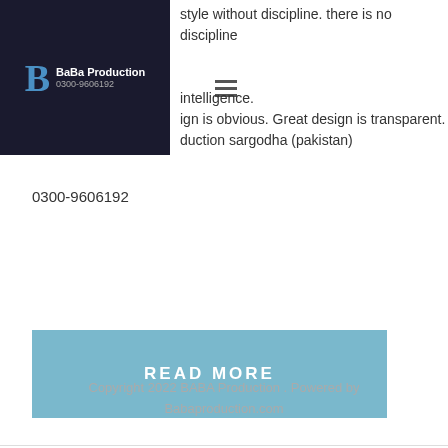[Figure (logo): BaBa Production logo with blue B letter on dark navy background with company name and phone number 0300-9606192]
style without discipline. there is no discipline intelligence. ign is obvious. Great design is transparent. duction sargodha (pakistan)
0300-9606192
READ MORE
Copyright 2022 BABA Production . Powered by Babaproduction.com